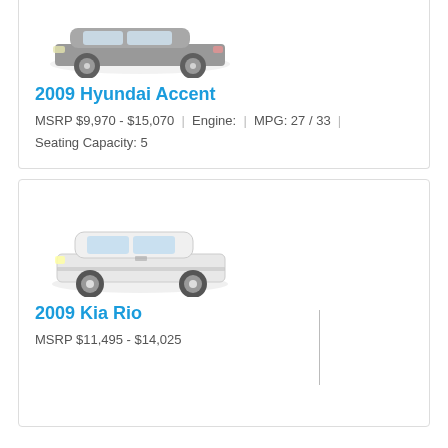[Figure (photo): 2009 Hyundai Accent car photo, silver/dark sedan viewed from front-left angle]
2009 Hyundai Accent
MSRP $9,970 - $15,070  |  Engine:  |  MPG: 27 / 33  |  Seating Capacity: 5
[Figure (photo): 2009 Kia Rio car photo, white sedan viewed from front-left angle]
2009 Kia Rio
MSRP $11,495 - $14,025